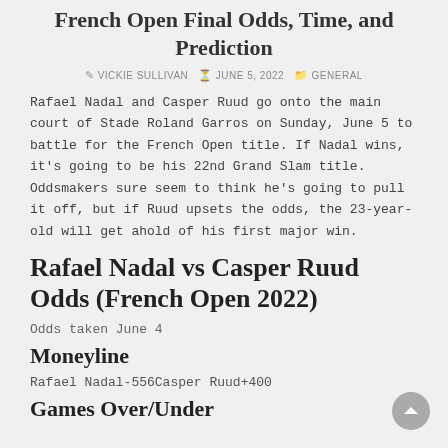French Open Final Odds, Time, and Prediction
VICKIE SULLIVAN   JUNE 5, 2022   GENERAL
Rafael Nadal and Casper Ruud go onto the main court of Stade Roland Garros on Sunday, June 5 to battle for the French Open title. If Nadal wins, it's going to be his 22nd Grand Slam title. Oddsmakers sure seem to think he's going to pull it off, but if Ruud upsets the odds, the 23-year-old will get ahold of his first major win.
Rafael Nadal vs Casper Ruud Odds (French Open 2022)
Odds taken June 4
Moneyline
Rafael Nadal-556Casper Ruud+400
Games Over/Under